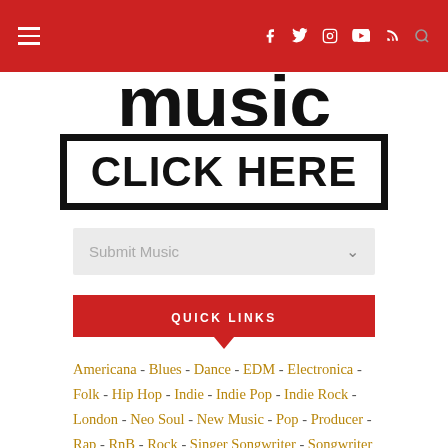Navigation bar with hamburger menu, social icons (Facebook, Twitter, Instagram, YouTube, RSS), and search icon
[Figure (logo): Partial music blog logo text in large bold black letters (bottom portion visible)]
[Figure (other): CLICK HERE button with thick black border]
Submit Music (dropdown)
QUICK LINKS
Americana - Blues - Dance - EDM - Electronica - Folk - Hip Hop - Indie - Indie Pop - Indie Rock - London - Neo Soul - New Music - Pop - Producer - Rap - RnB - Rock - Singer Songwriter - Songwriter - Soul - Soundcloud - Spotify - Trap - USA -